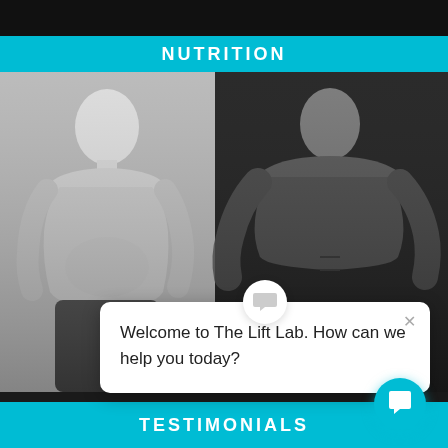NUTRITION
[Figure (photo): Before and after fitness transformation photos side by side. Left: black and white photo of a man with average build. Right: black and white photo of the same man with muscular, lean physique in a gym.]
Welcome to The Lift Lab. How can we help you today?
TESTIMONIALS